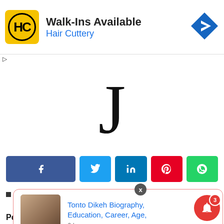[Figure (screenshot): Hair Cuttery advertisement banner with yellow HC logo, text 'Walk-Ins Available' and 'Hair Cuttery' in blue, and a blue directions arrow icon on the right]
[Figure (illustration): Large black letter J in serif font centered on white background]
[Figure (infographic): Social share buttons row: Facebook (blue), Twitter (light blue), LinkedIn (dark blue), Pinterest (red), WhatsApp (green)]
“We now know that we need the PDP and Sen. Ademola Adeleke for the state to move forward positively in economic
[Figure (screenshot): Notification popup with photo of Tonto Dikeh, title 'Tonto Dikeh Biography, Education, Career, Age,' and timestamp '6 hours ago']
Permanent Voter Card (PVC) ready...